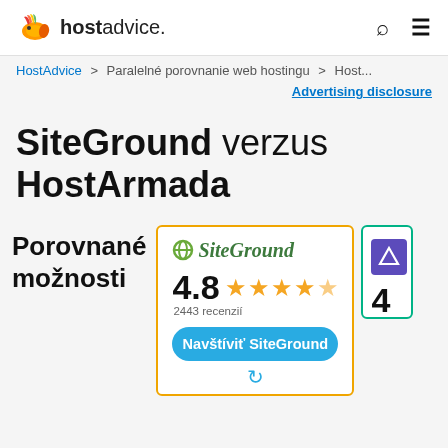hostadvice.
HostAdvice > Paralelné porovnanie web hostingu > Host...
Advertising disclosure
SiteGround verzus HostArmada
Porovnané možnosti
[Figure (screenshot): SiteGround hosting card with orange border showing SiteGround logo, 4.8 star rating with 2443 recenzií, and a blue 'Navštíviť SiteGround' button]
[Figure (screenshot): Partial HostArmada card with teal border showing purple logo icon and the number 4 partially visible]